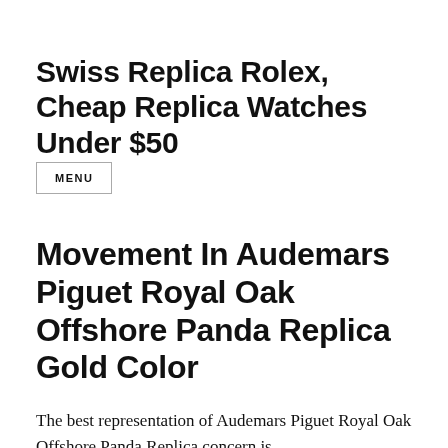Swiss Replica Rolex, Cheap Replica Watches Under $50
MENU
Movement In Audemars Piguet Royal Oak Offshore Panda Replica Gold Color
The best representation of Audemars Piguet Royal Oak Offshore Panda Replica concern is